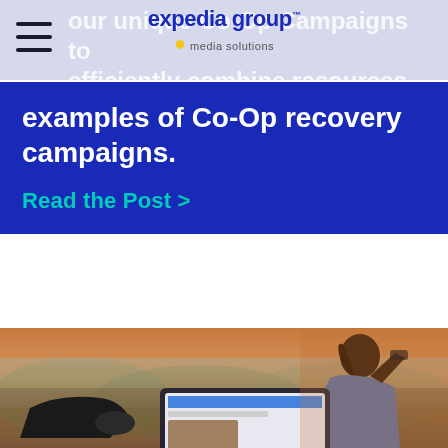expedia group media solutions
our unique Co-Op Campaigns to efficiently combine resources and maximize results. See recent examples of Co-Op recovery campaigns.
Read the Post >
[Figure (photo): Person relaxing outdoors with feet up, looking at a laptop/tablet showing a news website, warm sunset lighting, trees in background]